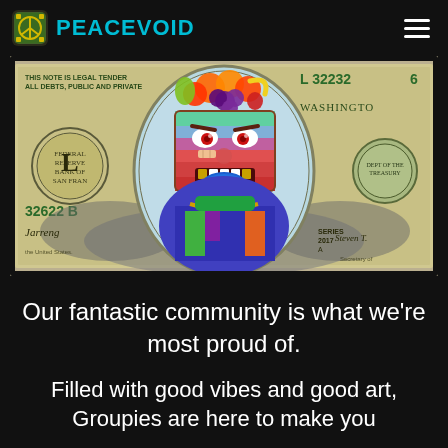PEACEVOID
[Figure (illustration): Artistic illustration of a US dollar bill with a colorful cartoon character face replacing Washington's portrait. The character has fruit on top of its head, a blue tongue sticking out, and gold teeth. Text includes 'THIS NOTE IS LEGAL TENDER ALL DEBTS, PUBLIC AND PRIVATE', 'L 322326', 'WASHINGTON', '32622 B', 'SERIES 2017 A', 'Steven T.', signature 'Jarreng'.]
Our fantastic community is what we're most proud of.
Filled with good vibes and good art, Groupies are here to make you